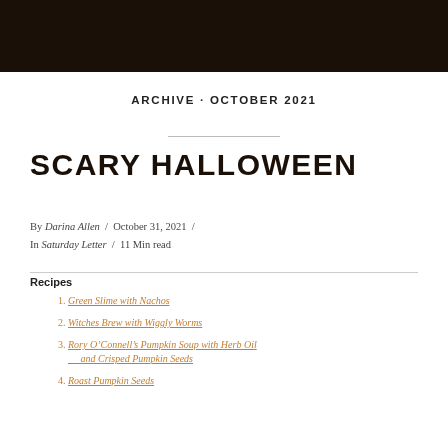ARCHIVE · OCTOBER 2021
SCARY HALLOWEEN
By Darina Allen / October 31, 2021 / In Saturday Letter / 11 Min read
Recipes
Green Slime with Nachos
Witches Brew with Wiggly Worms
Rory Oâ€™Connellâ€™s Pumpkin Soup with Herb Oil and Crisped Pumpkin Seeds
Roast Pumpkin Seeds